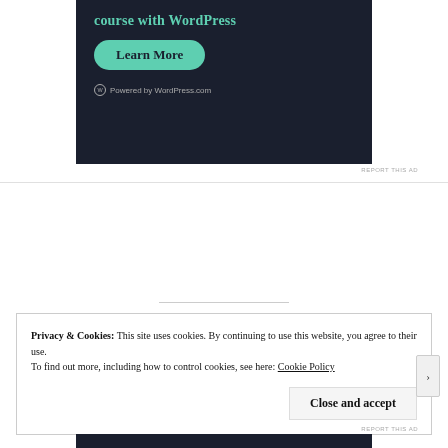[Figure (screenshot): WordPress.com advertisement banner with dark background (#1a1f2e), teal title text 'course with WordPress', a teal 'Learn More' rounded button, and 'Powered by WordPress.com' footer text with WordPress logo.]
REPORT THIS AD
Privacy & Cookies: This site uses cookies. By continuing to use this website, you agree to their use.
To find out more, including how to control cookies, see here: Cookie Policy
Close and accept
REPORT THIS AD